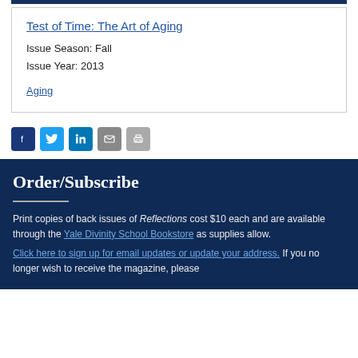Test of Time: The Art of Aging
Issue Season: Fall
Issue Year: 2013
Aging
[Figure (infographic): Row of social media sharing icons: Facebook, Twitter, LinkedIn, Email, Print]
Order/Subscribe
Print copies of back issues of Reflections cost $10 each and are available through the Yale Divinity School Bookstore as supplies allow. Click here to sign up for email updates or update your address. If you no longer wish to receive the magazine, please